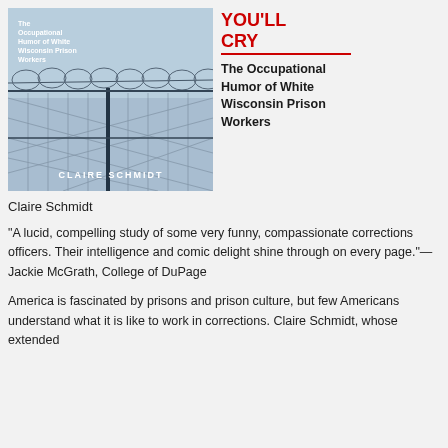[Figure (illustration): Book cover image showing razor wire fence against a light blue sky, with title text partially visible and author name CLAIRE SCHMIDT at the bottom]
YOU'LL CRY
The Occupational Humor of White Wisconsin Prison Workers
Claire Schmidt
“A lucid, compelling study of some very funny, compassionate corrections officers. Their intelligence and comic delight shine through on every page.”—Jackie McGrath, College of DuPage
America is fascinated by prisons and prison culture, but few Americans understand what it is like to work in corrections. Claire Schmidt, whose extended